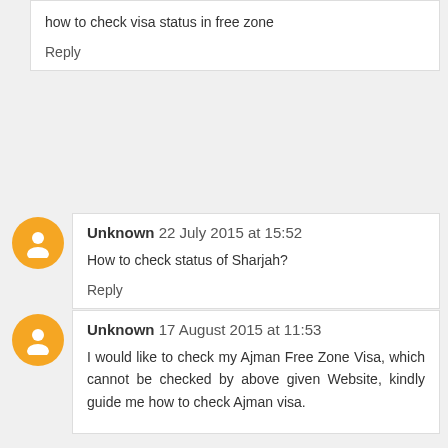how to check visa status in free zone
Reply
Unknown 22 July 2015 at 15:52
How to check status of Sharjah?
Reply
Unknown 17 August 2015 at 11:53
I would like to check my Ajman Free Zone Visa, which cannot be checked by above given Website, kindly guide me how to check Ajman visa.